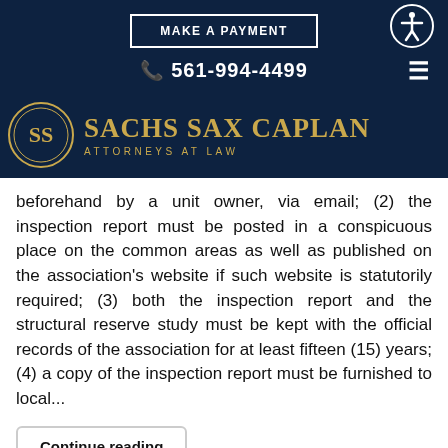MAKE A PAYMENT | 561-994-4499 | SACHS SAX CAPLAN ATTORNEYS AT LAW
[Figure (logo): Sachs Sax Caplan Attorneys at Law logo with gold SSC emblem on dark navy background]
beforehand by a unit owner, via email; (2) the inspection report must be posted in a conspicuous place on the common areas as well as published on the association's website if such website is statutorily required; (3) both the inspection report and the structural reserve study must be kept with the official records of the association for at least fifteen (15) years; (4) a copy of the inspection report must be furnished to local...
Continue reading
158 Hits   0 Comments
Tags: